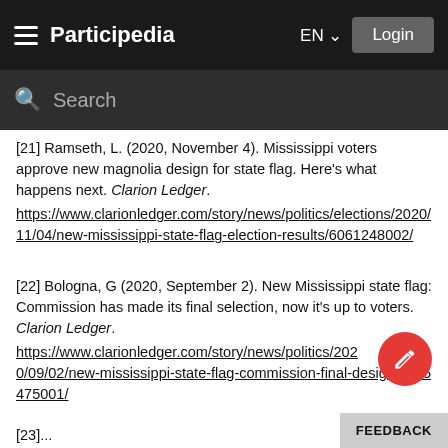Participedia  EN  Login
Search
[21] Ramseth, L. (2020, November 4). Mississippi voters approve new magnolia design for state flag. Here's what happens next. Clarion Ledger. https://www.clarionledger.com/story/news/politics/elections/2020/11/04/new-mississippi-state-flag-election-results/6061248002/
[22] Bologna, G (2020, September 2). New Mississippi state flag: Commission has made its final selection, now it's up to voters. Clarion Ledger. https://www.clarionledger.com/story/news/politics/202 0/09/02/new-mississippi-state-flag-commission-final-design/3455475001/
[23]...